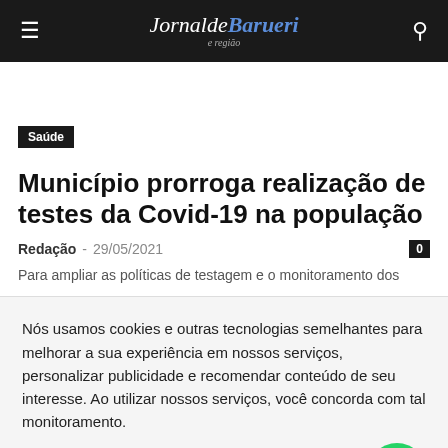Jornal de Barueri e região
Saúde
Município prorroga realização de testes da Covid-19 na população
Redação - 29/05/2021  0
Para ampliar as políticas de testagem e o monitoramento dos casos
Nós usamos cookies e outras tecnologias semelhantes para melhorar a sua experiência em nossos serviços, personalizar publicidade e recomendar conteúdo de seu interesse. Ao utilizar nossos serviços, você concorda com tal monitoramento.
ACEITO